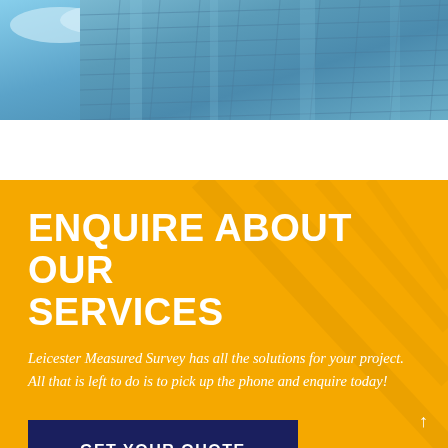[Figure (photo): Upward-angle photo of a modern glass-curtain-wall office building against a blue sky]
ENQUIRE ABOUT OUR SERVICES
Leicester Measured Survey has all the solutions for your project. All that is left to do is to pick up the phone and enquire today!
GET YOUR QUOTE